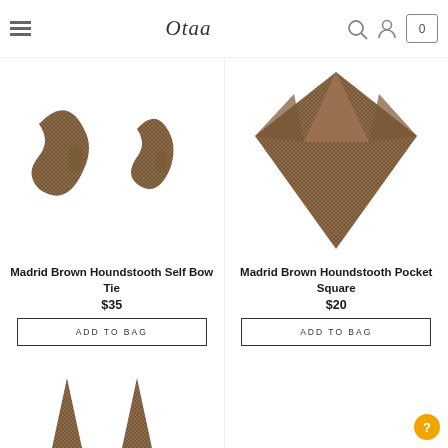Otaa — navigation header with hamburger menu, logo, search, account, and cart icons
[Figure (photo): Two brown houndstooth self bow ties shown flat, unfolded and folded]
Madrid Brown Houndstooth Self Bow Tie
$35
ADD TO BAG
[Figure (photo): Brown houndstooth pocket square folded in point-up diamond style]
Madrid Brown Houndstooth Pocket Square
$20
ADD TO BAG
[Figure (photo): Partial view of brown houndstooth bow ties at bottom of page]